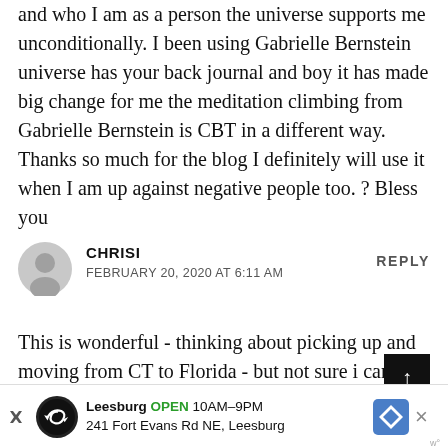and who I am as a person the universe supports me unconditionally. I been using Gabrielle Bernstein universe has your back journal and boy it has made big change for me the meditation climbing from Gabrielle Bernstein is CBT in a different way. Thanks so much for the blog I definitely will use it when I am up against negative people too. ? Bless you
[Figure (illustration): Grey circular avatar/user icon placeholder]
CHRISI
FEBRUARY 20, 2020 AT 6:11 AM
REPLY
This is wonderful - thinking about picking up and moving from CT to Florida - but not sure i can succeed find a job and afford to live on my own down there. I love it its my time to do something for me - stuck in my
[Figure (infographic): Advertisement bar: Leesburg OPEN 10AM-9PM, 241 Fort Evans Rd NE, Leesburg with navigation icon]